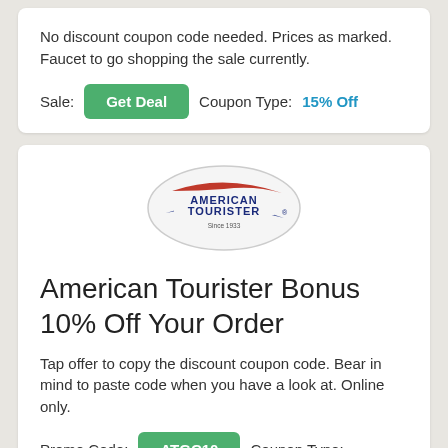No discount coupon code needed. Prices as marked. Faucet to go shopping the sale currently.
Sale: Get Deal   Coupon Type: 15% Off
[Figure (logo): American Tourister oval logo with red and blue swoosh design and text 'AMERICAN TOURISTER Since 1933']
American Tourister Bonus 10% Off Your Order
Tap offer to copy the discount coupon code. Bear in mind to paste code when you have a look at. Online only.
Promo Code: ATGC10   Coupon Type: 10% Off